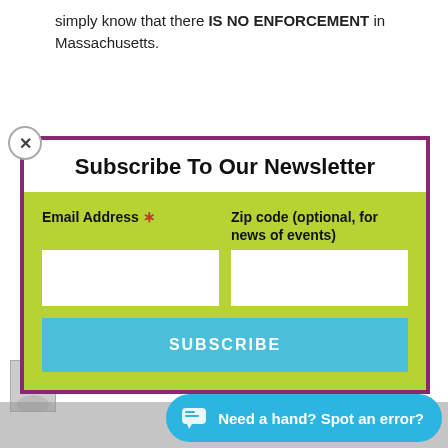simply know that there IS NO ENFORCEMENT in Massachusetts.
Reply
Subscribe To Our Newsletter
Email Address * | Zip code (optional, for news of events)
SUBSCRIBE
Albert says: October 25, 2021 at 11:07 pm
And I al... honestly
Need a hand? Spot an error?